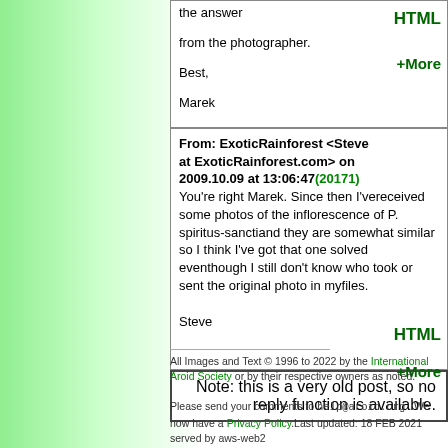the answer

from the photographer.

Best,

Marek
From: ExoticRainforest <Steve at ExoticRainforest.com> on 2009.10.09 at 13:06:47(20171)
You're right Marek. Since then I'vereceived some photos of the inflorescence of P. spiritus-sanctiand they are somewhat similar so I think I've got that one solved eventhough I still don't know who took or sent the original photo in myfiles.

Steve
Note: this is a very old post, so no reply function is available.
All Images and Text © 1996 to 2022 by the International Aroid Society or by their respective owners as noted.
Please send your comments to help@aroid.org . We now have a Privacy Policy.Last updated: 18 FEB 2021 served by aws-web2